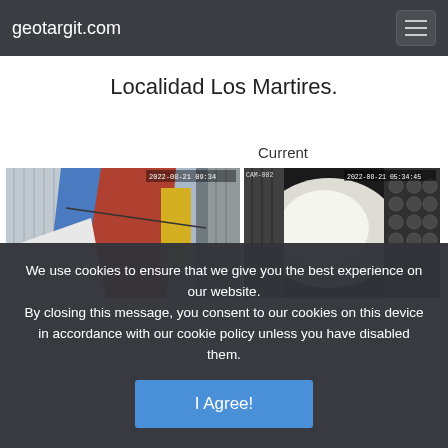geotargit.com
Localidad Los Martires.
Current
[Figure (photo): Security camera image showing corrugated metal structures with colorful walls (blue, red, yellow) and metal posts, daytime view.]
[Figure (photo): Security camera image showing a bright glare on corrugated metal structure, black and white/night vision view, timestamp visible in corner.]
We use cookies to ensure that we give you the best experience on our website.
By closing this message, you consent to our cookies on this device in accordance with our cookie policy unless you have disabled them.
I Agree!